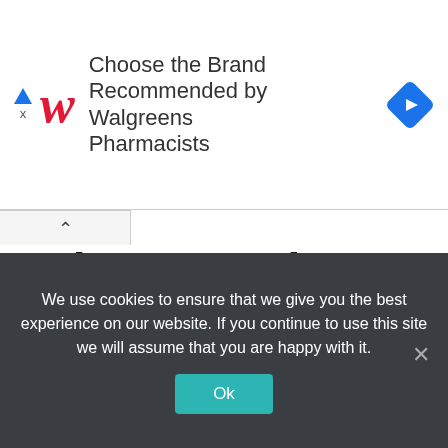[Figure (infographic): Walgreens advertisement banner: Walgreens italic W logo in red, text 'Choose the Brand Recommended by Walgreens Pharmacists', blue diamond navigation icon on right, ad indicator triangle and X on far left]
Enjoy YouTube on a Big Screen
Before you move to a smartphone or table's small screen to watch YouTube videos, use the tricks above and get back your ideal YouTube experience on a big screen. Which trick worked for you? Share your findings in
We use cookies to ensure that we give you the best experience on our website. If you continue to use this site we will assume that you are happy with it.